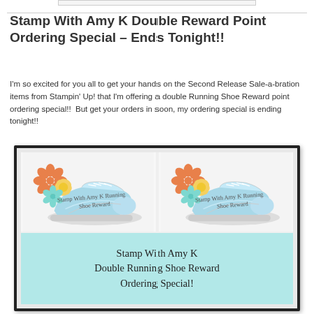Stamp With Amy K Double Reward Point Ordering Special – Ends Tonight!!
I'm so excited for you all to get your hands on the Second Release Sale-a-bration items from Stampin' Up! that I'm offering a double Running Shoe Reward point ordering special!!  But get your orders in soon, my ordering special is ending tonight!!
[Figure (illustration): Framed promotional graphic showing two 'Stamp With Amy K Running Shoe Reward' cards on top (each with a light blue Nike Free running shoe and orange/yellow/teal flowers), and a light teal bottom panel with cursive script reading 'Stamp With Amy K Double Running Shoe Reward Ordering Special!']